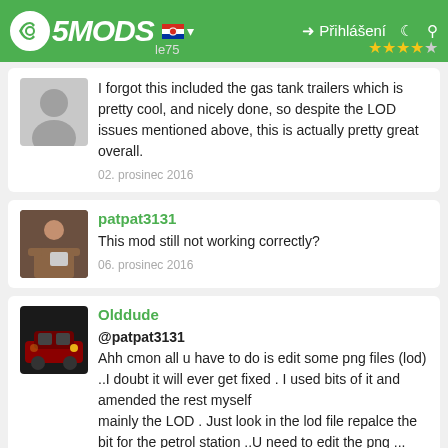5MODS | Přihlášení
I forgot this included the gas tank trailers which is pretty cool, and nicely done, so despite the LOD issues mentioned above, this is actually pretty great overall.
02. prosinec 2016
patpat3131
This mod still not working correctly?
06. prosinec 2016
Olddude
@patpat3131
Ahh cmon all u have to do is edit some png files (lod) ..I doubt it will ever get fixed . I used bits of it and amended the rest myself
mainly the LOD . Just look in the lod file repalce the bit for the petrol station ..U need to edit the png ...
A lovely day ...